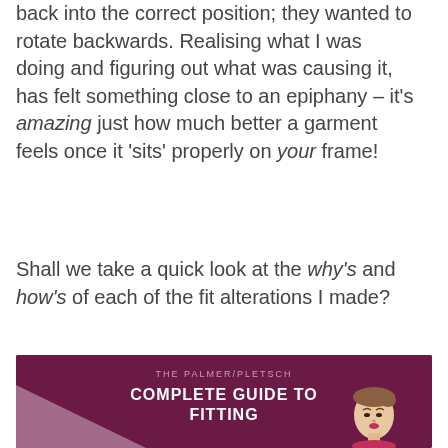back into the correct position; they wanted to rotate backwards. Realising what I was doing and figuring out what was causing it, has felt something close to an epiphany – it's amazing just how much better a garment feels once it 'sits' properly on your frame!
Shall we take a quick look at the why's and how's of each of the fit alterations I made?
[Figure (photo): Book cover for 'The Palmer/Pletsch Complete Guide to Fitting' with dark purple background, pink triangle accent, and illustrated woman figure]